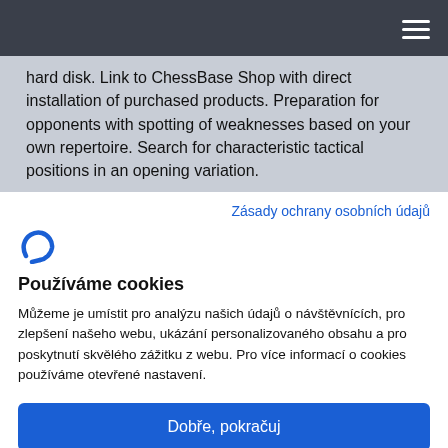hard disk. Link to ChessBase Shop with direct installation of purchased products. Preparation for opponents with spotting of weaknesses based on your own repertoire. Search for characteristic tactical positions in an opening variation.
Zásady ochrany osobních údajů
[Figure (logo): ChessBase logo mark in blue]
Používáme cookies
Můžeme je umístit pro analýzu našich údajů o návštěvnících, pro zlepšení našeho webu, ukázání personalizovaného obsahu a pro poskytnutí skvělého zážitku z webu. Pro více informací o cookies používáme otevřené nastavení.
Dobře, pokračuj
Odmítnout
Ne, uprav